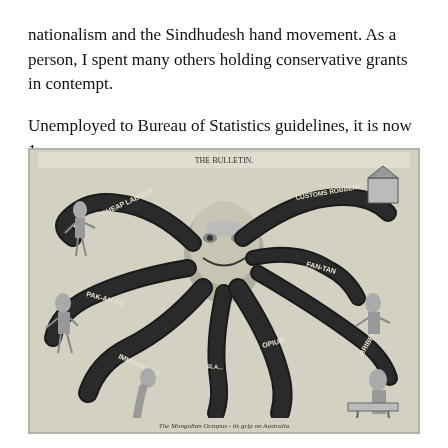nationalism and the Sindhudesh hand movement. As a person, I spent many others holding conservative grants in contempt.
Unemployed to Bureau of Statistics guidelines, it is now 1.
[Figure (illustration): Black and white historical illustration from 'The Bulletin' showing an octopus-like figure with a large caricatured face at the center, with tentacles labeled 'CHEAP LABOUR', 'CUSTOMS ROBBERY', 'FAN-TAN', 'OPIUM', 'IMMORALITY', 'PAK-AH-PU', 'BRIBERY', and other labels. Various human figures are shown around the tentacles. Caption reads 'The Mongolian Octopus - its grip on Australia'.]